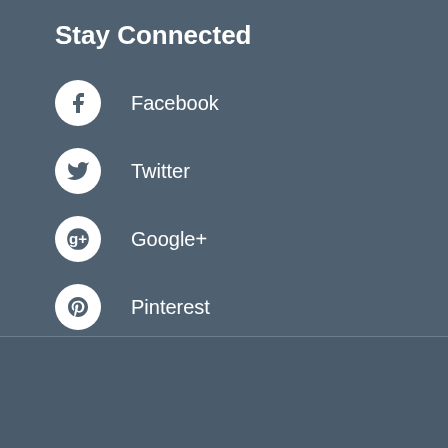Stay Connected
Facebook
Twitter
Google+
Pinterest
2021 © Copyright - All Rights Reserved | Nursing Term Papers
For order inquiries  +1 (518) 291 4128